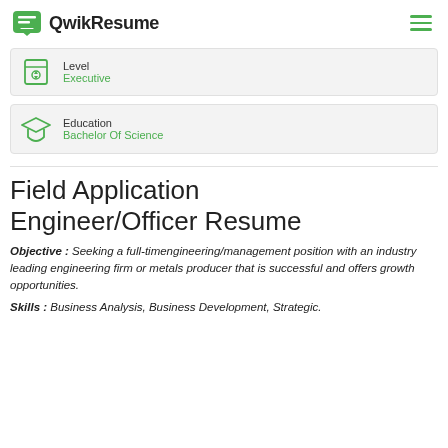QwikResume
Level
Executive
Education
Bachelor Of Science
Field Application Engineer/Officer Resume
Objective : Seeking a full-timengineering/management position with an industry leading engineering firm or metals producer that is successful and offers growth opportunities.
Skills : Business Analysis, Business Development, Strategic.